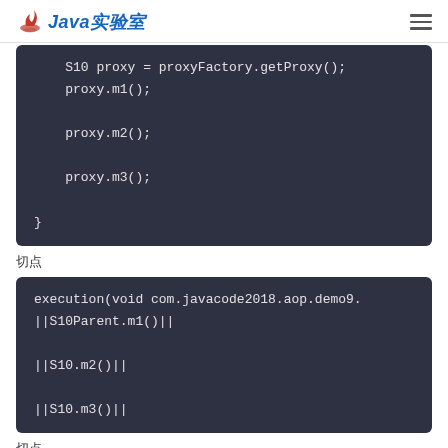Java实验室
[Figure (screenshot): Code block showing: S10 proxy = proxyFactory.getProxy(); proxy.m1(); proxy.m2(); proxy.m3(); }]
切点
[Figure (screenshot): Code block showing: execution(void com.javacode2018.aop.demo9. ||S10Parent.m1()|| ||S10.m2()|| ||S10.m3()||]
切点